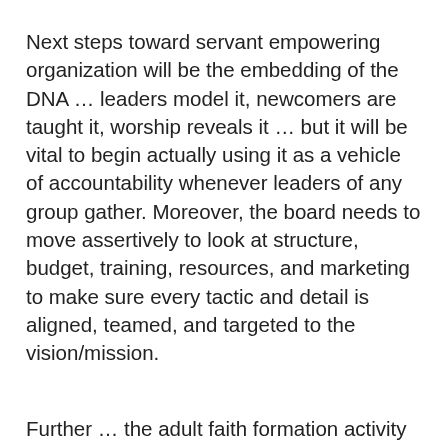Next steps toward servant empowering organization will be the embedding of the DNA … leaders model it, newcomers are taught it, worship reveals it … but it will be vital to begin actually using it as a vehicle of accountability whenever leaders of any group gather. Moreover, the board needs to move assertively to look at structure, budget, training, resources, and marketing to make sure every tactic and detail is aligned, teamed, and targeted to the vision/mission.
Further … the adult faith formation activity that has been invested in the vision discernment process